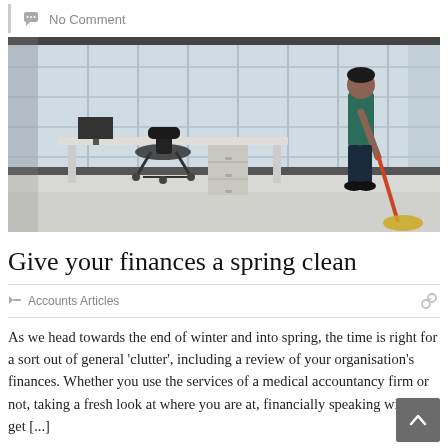No Comment
[Figure (photo): A person mopping the floor of a large modern office with floor-to-ceiling windows, a desk, office chair, and filing cabinet visible.]
Give your finances a spring clean
Accounts Articles
As we head towards the end of winter and into spring, the time is right for a sort out of general 'clutter', including a review of your organisation's finances. Whether you use the services of a medical accountancy firm or not, taking a fresh look at where you are at, financially speaking will help get [...]